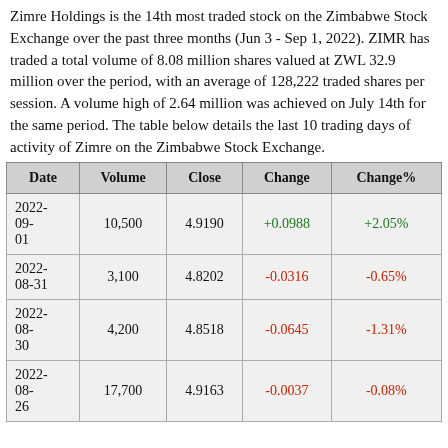Zimre Holdings is the 14th most traded stock on the Zimbabwe Stock Exchange over the past three months (Jun 3 - Sep 1, 2022). ZIMR has traded a total volume of 8.08 million shares valued at ZWL 32.9 million over the period, with an average of 128,222 traded shares per session. A volume high of 2.64 million was achieved on July 14th for the same period. The table below details the last 10 trading days of activity of Zimre on the Zimbabwe Stock Exchange.
| Date | Volume | Close | Change | Change% |
| --- | --- | --- | --- | --- |
| 2022-09-01 | 10,500 | 4.9190 | +0.0988 | +2.05% |
| 2022-08-31 | 3,100 | 4.8202 | -0.0316 | -0.65% |
| 2022-08-30 | 4,200 | 4.8518 | -0.0645 | -1.31% |
| 2022-08-26 | 17,700 | 4.9163 | -0.0037 | -0.08% |